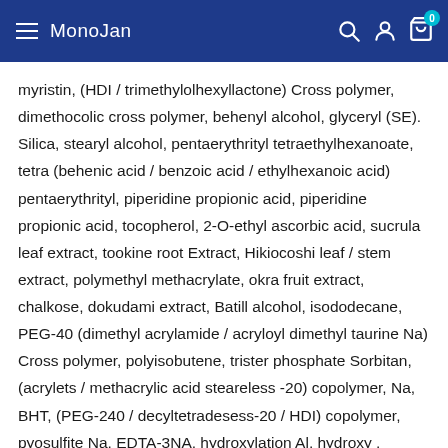MonoJan
myristin, (HDI / trimethylolhexyllactone) Cross polymer, dimethocolic cross polymer, behenyl alcohol, glyceryl (SE). Silica, stearyl alcohol, pentaerythrityl tetraethylhexanoate, tetra (behenic acid / benzoic acid / ethylhexanoic acid) pentaerythrityl, piperidine propionic acid, piperidine propionic acid, tocopherol, 2-O-ethyl ascorbic acid, sucrula leaf extract, tookine root Extract, Hikiocoshi leaf / stem extract, polymethyl methacrylate, okra fruit extract, chalkose, dokudami extract, Batill alcohol, isododecane, PEG-40 (dimethyl acrylamide / acryloyl dimethyl taurine Na) Cross polymer, polyisobutene, trister phosphate Sorbitan, (acrylets / methacrylic acid steareless -20) copolymer, Na, BHT, (PEG-240 / decyltetradesess-20 / HDI) copolymer, pyosulfite Na, EDTA-3NA, hydroxylation Al, hydroxy , Metarylate Na, citric acid,